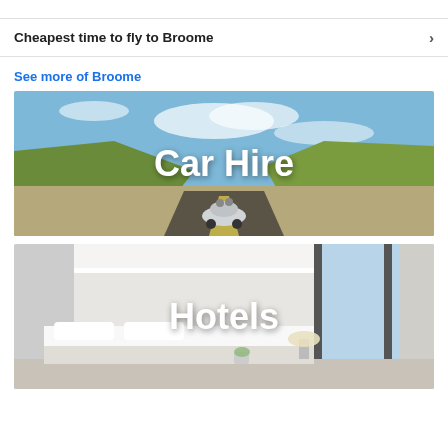Cheapest time to fly to Broome
See more of Broome
[Figure (photo): Scenic road winding through hills with a convertible car, overlaid with text 'Car Hire']
[Figure (photo): Modern hotel room interior with bed and large window, overlaid with text 'Hotels']